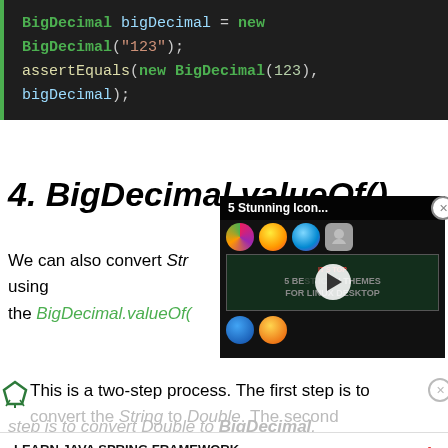[Figure (screenshot): Code block showing BigDecimal initialization: BigDecimal bigDecimal = new BigDecimal("123"); assertEquals(new BigDecimal(123), bigDecimal);]
4. BigDecimal.valueOf()
We can also convert String to BigDecimal using the BigDecimal.valueOf() method.
[Figure (screenshot): Embedded video overlay showing '5 Stunning Icon...' and '5 BEST ICON THEMES FOR LINUX DESKTOP' with play button and icon thumbnails]
This is a two-step process. The first step is to convert the String to Double. The second step is to convert Double to BigDecimal.
LEARN JAVA SPRING FRAMEWORK
[Figure (screenshot): Ad bar: Ad | An AMG Site]
[Figure (screenshot): Partial code block at bottom: BigDecimal bigDecimal = BigDecimal.valueOf(Double.valueOf(...))]